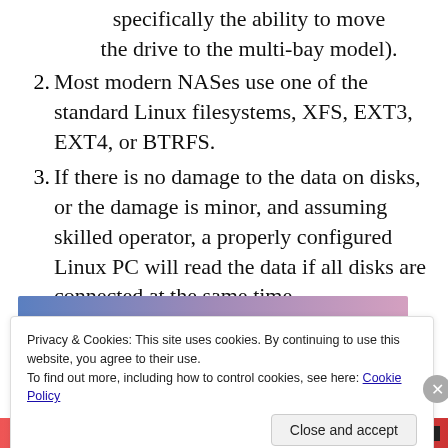specifically the ability to move the drive to the multi-bay model).
2. Most modern NASes use one of the standard Linux filesystems, XFS, EXT3, EXT4, or BTRFS.
3. If there is no damage to the data on disks, or the damage is minor, and assuming skilled operator, a properly configured Linux PC will read the data if all disks are connected at the same time.
[Figure (other): Horizontal gradient bar transitioning from blue on the left through purple to pink/rose on the right]
Privacy & Cookies: This site uses cookies. By continuing to use this website, you agree to their use.
To find out more, including how to control cookies, see here: Cookie Policy
Close and accept